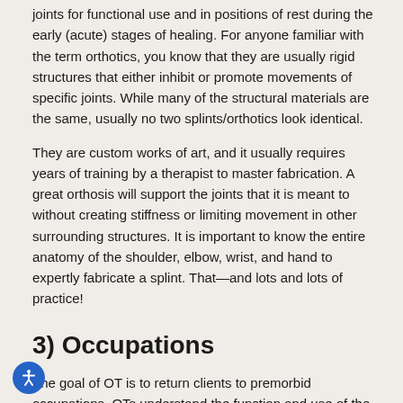joints for functional use and in positions of rest during the early (acute) stages of healing. For anyone familiar with the term orthotics, you know that they are usually rigid structures that either inhibit or promote movements of specific joints. While many of the structural materials are the same, usually no two splints/orthotics look identical.
They are custom works of art, and it usually requires years of training by a therapist to master fabrication. A great orthosis will support the joints that it is meant to without creating stiffness or limiting movement in other surrounding structures. It is important to know the entire anatomy of the shoulder, elbow, wrist, and hand to expertly fabricate a splint. That—and lots and lots of practice!
3) Occupations
The goal of OT is to return clients to premorbid occupations. OTs understand the function and use of the upper extremity within a person's everyday activities.